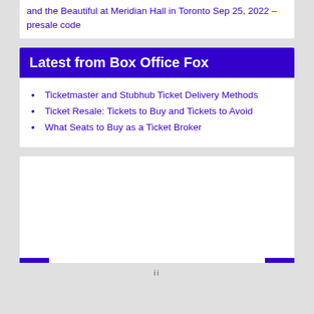and the Beautiful at Meridian Hall in Toronto Sep 25, 2022 – presale code
Latest from Box Office Fox
Ticketmaster and Stubhub Ticket Delivery Methods
Ticket Resale: Tickets to Buy and Tickets to Avoid
What Seats to Buy as a Ticket Broker
[Figure (other): White card with blue decorative bars at the bottom left and right corners]